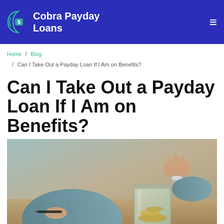Cobra Payday Loans
Home / Blog / Can I Take Out a Payday Loan If I Am on Benefits?
Can I Take Out a Payday Loan If I Am on Benefits?
[Figure (photo): A person in a denim shirt dropping coins into a glass jar, with a pen in the other hand, on a wooden surface. The image is styled with warm tones and has a blurred background.]